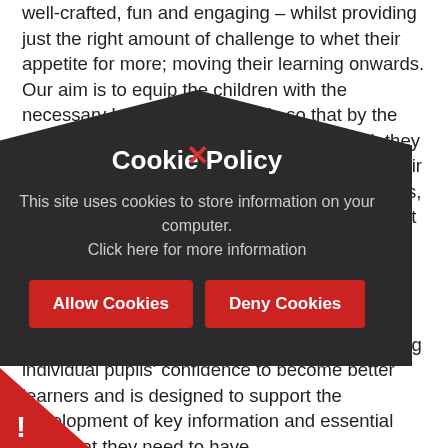well-crafted, fun and engaging – whilst providing just the right amount of challenge to whet their appetite for more; moving their learning onwards. Our aim is to equip the children with the necessary knowledge and skills so that by the time they leave Chulmleigh Primary School, they will be more than ready for the next stage in their journey. Staff work together to plan their lessons, drawing on each other's expertise to ensure that teaching and learning is built upon each year. Optimum learning behaviour is reinforced at registration and through displays around the school, including Guy Claxton's Building Learning Power. The curriculum helps to building individual pupils' confidence to become better learners and is designed to support the development of key information and essential facts that they need to have
[Figure (other): Cookie Policy modal dialog overlay on top of the page text. Dark rounded-top pentagon shape with a red X close button at the top. Title reads 'Cookie Policy'. Body text: 'This site uses cookies to store information on your computer. Click here for more information'. Two red buttons: 'Allow Cookies' and 'Deny Cookies'. A red triangle with exclamation mark at bottom-left.]